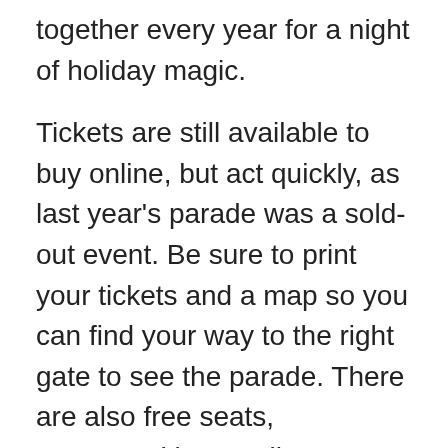together every year for a night of holiday magic.
Tickets are still available to buy online, but act quickly, as last year's parade was a sold-out event. Be sure to print your tickets and a map so you can find your way to the right gate to see the parade. There are also free seats, sponsored by Santikos Entertainment, available on a first-come, first-served basis. Fee free to bring your own chairs.
San Antonio Real Estate Owners Arrive Early to Hear Carols and Christmas Music
On the evening of parade, River Walk will close at 4 p.m. The gates will open again at 5 p.m. for ticket holders. For those who love Christmas music, be sure to arrive by 6 p.m. There will be an hour of live